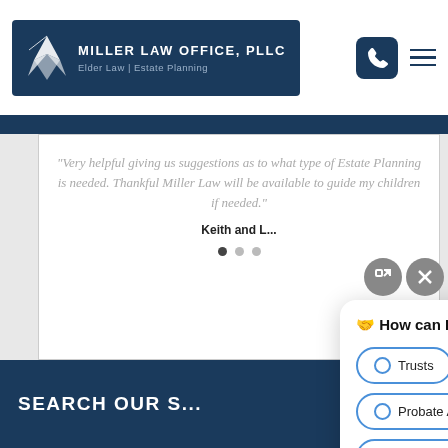[Figure (logo): Miller Law Office PLLC logo with paper crane bird, dark navy background. Tagline: Elder Law | Estate Planning]
“Very helpful giving us suggestions as to what type of Estate Planning is needed. Thankful Miller Law will be available to guide my children if needed.”
Keith and L...
VIEW ALL
SEARCH OUR S...
[Figure (screenshot): Chat widget overlay with header '🤝 How can I help you?' and four radio-button options: Trusts, Wills, Probate Administration, Elder Medicaid]